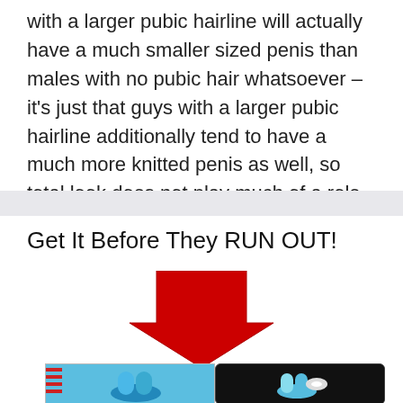with a larger pubic hairline will actually have a much smaller sized penis than males with no pubic hair whatsoever – it's just that guys with a larger pubic hairline additionally tend to have a much more knitted penis as well, so total look does not play much of a role.
Get It Before They RUN OUT!
[Figure (illustration): Large red downward-pointing arrow above product images]
[Figure (photo): Product images showing a device with blue and white components on light blue background (left) and dark background (right)]